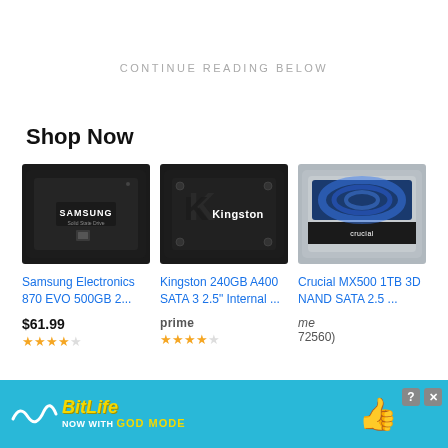CONTINUE READING BELOW
Shop Now
[Figure (photo): Samsung 870 EVO 500GB 2.5-inch SATA SSD product photo]
[Figure (photo): Kingston 240GB A400 SATA 3 2.5 inch Internal SSD product photo]
[Figure (photo): Crucial MX500 1TB 3D NAND SATA 2.5 inch SSD product photo]
Samsung Electronics 870 EVO 500GB 2...
Kingston 240GB A400 SATA 3 2.5" Internal ...
Crucial MX500 1TB 3D NAND SATA 2.5 ...
$61.99
[Figure (screenshot): BitLife advertisement banner — NOW WITH GOD MODE]